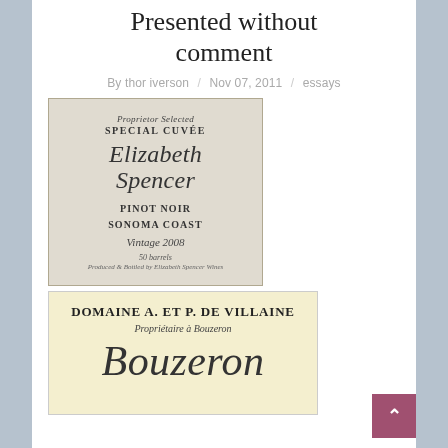Presented without comment
By thor iverson / Nov 07, 2011 / essays
[Figure (photo): Close-up photo of Elizabeth Spencer Proprietor Selected Special Cuvée Pinot Noir Sonoma Coast Vintage 2008 wine bottle label. Label reads: Proprietor Selected, SPECIAL CUVÉE, Elizabeth Spencer, PINOT NOIR, SONOMA COAST, Vintage 2008, 50 barrels, Produced & Bottled by Elizabeth Spencer Wines.]
[Figure (photo): Partial photo of Domaine A. Et P. De Villaine Propriétaire à Bouzeron wine bottle label. Label reads: DOMAINE A. ET P. DE VILLAINE, Propriétaire à Bouzeron, Bouzeron (script, partially visible).]